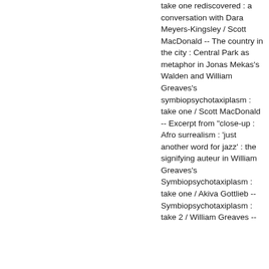take one rediscovered : a conversation with Dara Meyers-Kingsley / Scott MacDonald -- The country in the city : Central Park as metaphor in Jonas Mekas's Walden and William Greaves's symbiopsychotaxiplasm : take one / Scott MacDonald -- Excerpt from "close-up : Afro surrealism : 'just another word for jazz' : the signifying auteur in William Greaves's Symbiopsychotaxiplasm : take one / Akiva Gottlieb -- Symbiopsychotaxiplasm : take 2 / William Greaves --